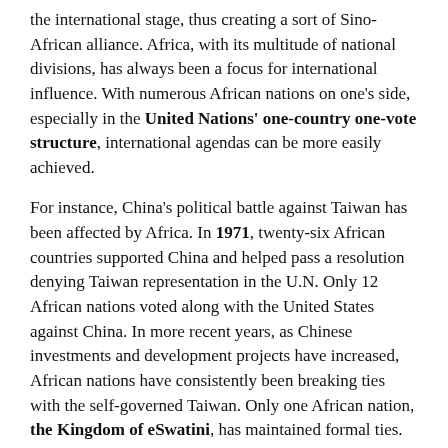the international stage, thus creating a sort of Sino-African alliance. Africa, with its multitude of national divisions, has always been a focus for international influence. With numerous African nations on one's side, especially in the United Nations' one-country one-vote structure, international agendas can be more easily achieved.
For instance, China's political battle against Taiwan has been affected by Africa. In 1971, twenty-six African countries supported China and helped pass a resolution denying Taiwan representation in the U.N. Only 12 African nations voted along with the United States against China. In more recent years, as Chinese investments and development projects have increased, African nations have consistently been breaking ties with the self-governed Taiwan. Only one African nation, the Kingdom of eSwatini, has maintained formal ties. Diplomatic relations with China are impossible without following their One-China policy, a view where China has control over Taiwan, so the continent is compelled to give into Chinese demands.
The Taiwan vote was the first instance of a pro-China African voting bloc in the U.N. This bloc is still active in current